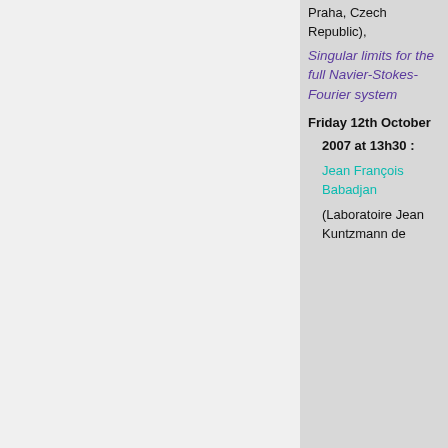Praha, Czech Republic),
Singular limits for the full Navier-Stokes-Fourier system
Friday 12th October 2007 at 13h30 :
Jean François Babadjan
(Laboratoire Jean Kuntzmann de